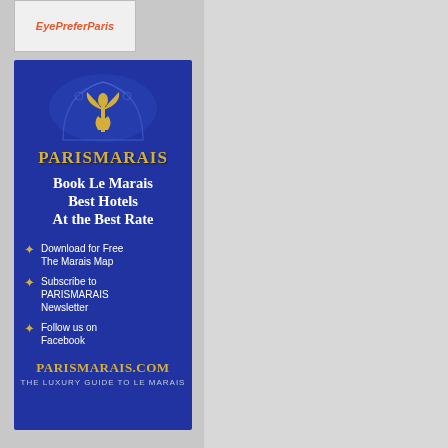[Figure (logo): EyePreferParis logo text in orange italic on light grey background]
[Figure (infographic): ParisMarais hotel booking advertisement on dark blue background with fleur-de-lis emblem. Text: PARISMARAIS, Book Le Marais Best Hotels At The Best Rate. Bullets: Download for Free The Marais Map, Subscribe to PARISMARAIS Newsletter, Follow us on Facebook. Footer: PARISMARAIS.COM, THE LUXURY GUIDE TO LE MARAIS]